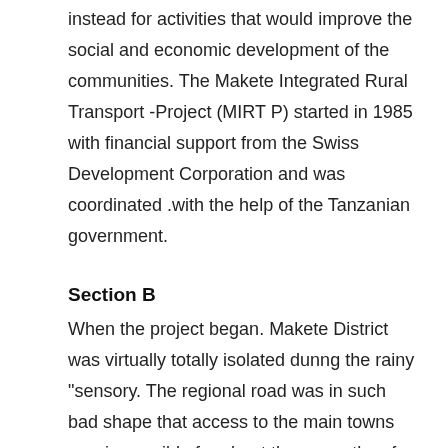instead for activities that would improve the social and economic development of the communities. The Makete Integrated Rural Transport -Project (MIRT P) started in 1985 with financial support from the Swiss Development Corporation and was coordinated .with the help of the Tanzanian government.
Section B
When the project began. Makete District was virtually totally isolated dunng the rainy "sensory. The regional road was in such bad shape that access to the main towns was impossible for about three months of the year. Road traffic was extremely rare with the district, and alternative means of transport were restricted to donkeys in the north of the distinct people relied primarily on the paths,